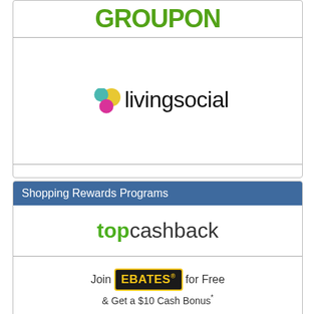[Figure (logo): Groupon logo in green bold text]
[Figure (logo): LivingSocial logo with colorful bubble icons]
Shopping Rewards Programs
[Figure (logo): TopCashback logo with green 'top' and dark 'cashback']
[Figure (logo): Ebates logo: 'Join EBATES for Free & Get a $10 Cash Bonus*']
[Figure (logo): MyPoints logo with orange arrow and italic bold text]